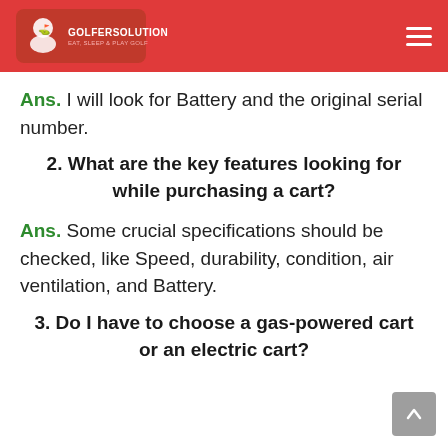GOLFERSOLUTION — EAT, SLEEP & PLAY GOLF
Ans. I will look for Battery and the original serial number.
2. What are the key features looking for while purchasing a cart?
Ans. Some crucial specifications should be checked, like Speed, durability, condition, air ventilation, and Battery.
3. Do I have to choose a gas-powered cart or an electric cart?